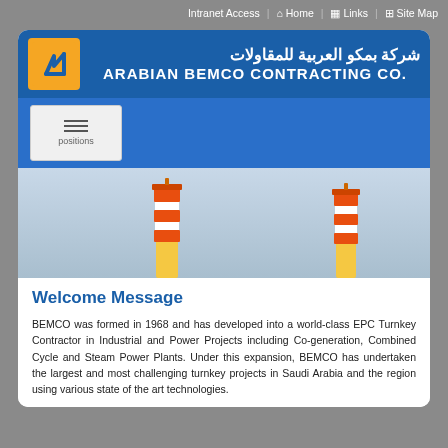Intranet Access  Home  Links  Site Map
[Figure (logo): Arabian BEMCO Contracting Co. logo with orange icon and blue background, Arabic and English text]
[Figure (screenshot): Blue navigation banner with a positions/hamburger menu placeholder box]
[Figure (photo): Two orange and white striped industrial chimneys against a light blue-grey sky background]
Welcome Message
BEMCO was formed in 1968 and has developed into a world-class EPC Turnkey Contractor in Industrial and Power Projects including Co-generation, Combined Cycle and Steam Power Plants. Under this expansion, BEMCO has undertaken the largest and most challenging turnkey projects in Saudi Arabia and the region using various state of the art technologies.